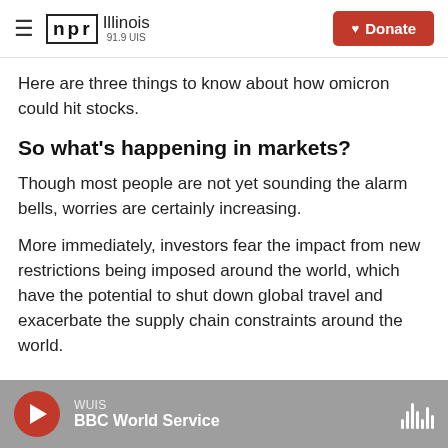NPR Illinois 91.9 UIS | Donate
Here are three things to know about how omicron could hit stocks.
So what's happening in markets?
Though most people are not yet sounding the alarm bells, worries are certainly increasing.
More immediately, investors fear the impact from new restrictions being imposed around the world, which have the potential to shut down global travel and exacerbate the supply chain constraints around the world.
WUIS BBC World Service